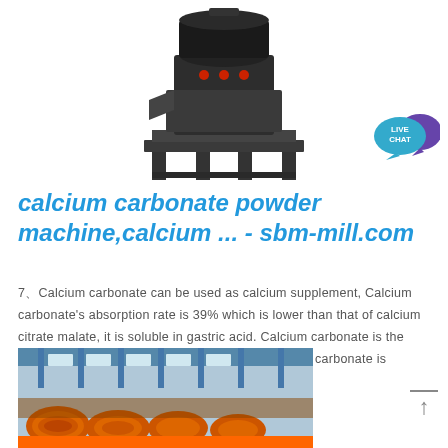[Figure (photo): Industrial calcium carbonate grinding mill machine, black metal construction on frame]
[Figure (illustration): Live Chat button - teal speech bubble with text LIVE CHAT and purple speech bubble behind]
calcium carbonate powder machine,calcium ... - sbm-mill.com
7、Calcium carbonate can be used as calcium supplement, Calcium carbonate's absorption rate is 39% which is lower than that of calcium citrate malate, it is soluble in gastric acid. Calcium carbonate is the most widely used calcium supplement. 8、Calcium carbonate is alkaline, it is usually used to improve acid soil.
[Figure (photo): Industrial factory interior showing orange conveyor/spiral equipment with blue structural beams]